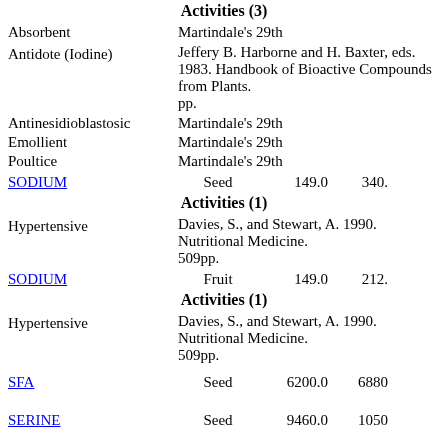Activities (3)
Absorbent	Martindale's 29th
Antidote (Iodine)	Jeffery B. Harborne and H. Baxter, eds. 1983. Handbook of Bioactive Compounds from Plants. pp.
Antinesidioblastosic	Martindale's 29th
Emollient	Martindale's 29th
Poultice	Martindale's 29th
SODIUM	Seed	149.0	340.
Activities (1)
Hypertensive	Davies, S., and Stewart, A. 1990. Nutritional Medicine. 509pp.
SODIUM	Fruit	149.0	212.
Activities (1)
Hypertensive	Davies, S., and Stewart, A. 1990. Nutritional Medicine. 509pp.
SFA	Seed	6200.0	6880
SERINE	Seed	9460.0	1050